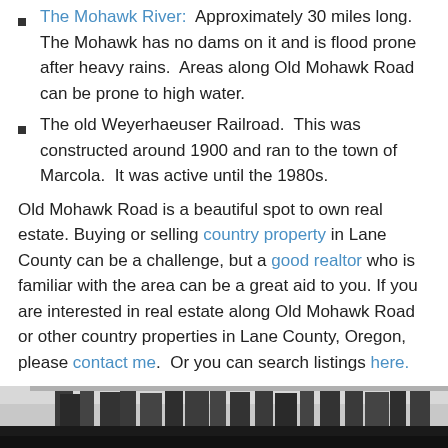The Mohawk River: Approximately 30 miles long. The Mohawk has no dams on it and is flood prone after heavy rains. Areas along Old Mohawk Road can be prone to high water.
The old Weyerhaeuser Railroad. This was constructed around 1900 and ran to the town of Marcola. It was active until the 1980s.
Old Mohawk Road is a beautiful spot to own real estate. Buying or selling country property in Lane County can be a challenge, but a good realtor who is familiar with the area can be a great aid to you. If you are interested in real estate along Old Mohawk Road or other country properties in Lane County, Oregon, please contact me. Or you can search listings here.
[Figure (photo): Black and white photograph of trees, partially visible at bottom of page]